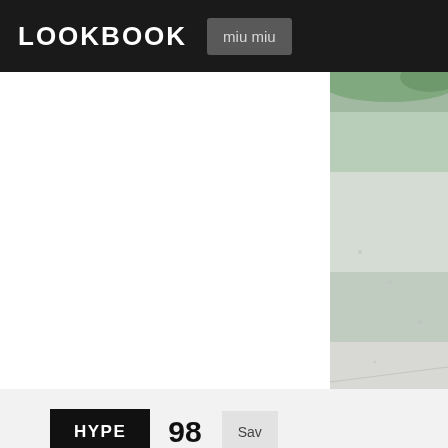LOOKBOOK
miu miu
[Figure (photo): Outdoor pavement/ground surface photo, light grey tones, partial view cropped on right side of page]
HYPE  98  Sav
1  Sweater Dress
Leith in Dresses
2  Camo "shacket"
Topshop in Topshop Outerwear
3  Nude Platfrom Heels
Steve Madden in Steve Madden H